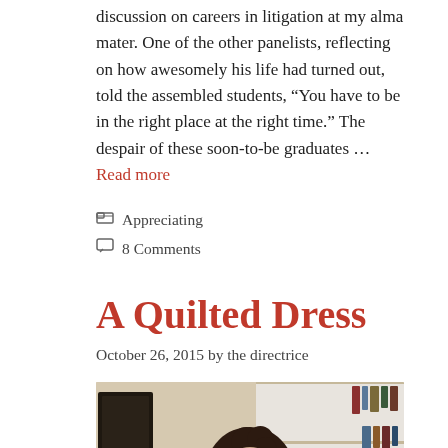discussion on careers in litigation at my alma mater. One of the other panelists, reflecting on how awesomely his life had turned out, told the assembled students, “You have to be in the right place at the right time.” The despair of these soon-to-be graduates … Read more
Appreciating
8 Comments
A Quilted Dress
October 26, 2015 by the directrice
[Figure (photo): Photo of a person with curly dark hair in front of bookshelves and a dark-framed picture on the wall]